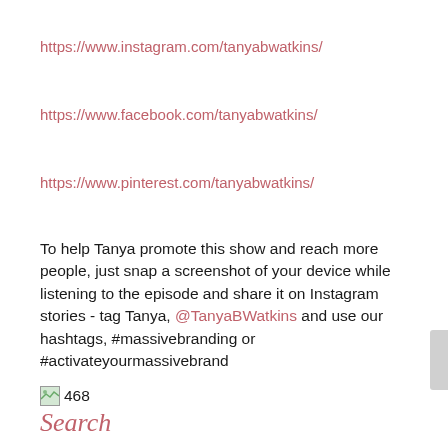https://www.instagram.com/tanyabwatkins/
https://www.facebook.com/tanyabwatkins/
https://www.pinterest.com/tanyabwatkins/
To help Tanya promote this show and reach more people, just snap a screenshot of your device while listening to the episode and share it on Instagram stories - tag Tanya, @TanyaBWatkins and use our hashtags, #massivebranding or #activateyourmassivebrand
[Figure (other): Broken image placeholder with number 468]
Search